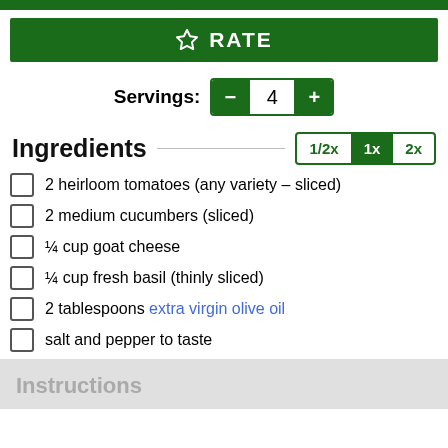RATE
Servings: 4
Ingredients
2 heirloom tomatoes (any variety – sliced)
2 medium cucumbers (sliced)
¼ cup goat cheese
¼ cup fresh basil (thinly sliced)
2 tablespoons extra virgin olive oil
salt and pepper to taste
Instructions